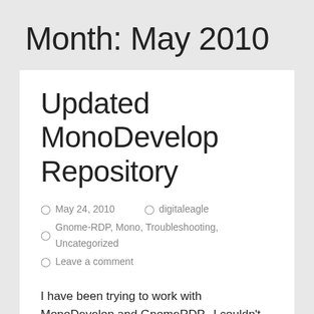Month: May 2010
Updated MonoDevelop Repository
May 24, 2010   digitaleagle
Gnome-RDP, Mono, Troubleshooting, Uncategorized
Leave a comment
I have been trying to work with MonoDevelop and GnomeRDP.  I couldn't get it to open the project because I needed the newer version of Monodevelop as described here.  I figured out how to install MonoDevelop manually.  The problem with all of this is that you have to get all of the dependencies yourself.